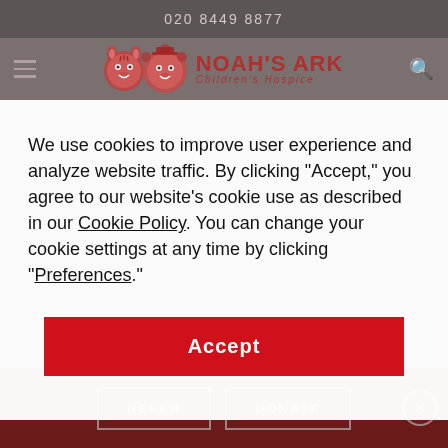020 8449 8877
[Figure (logo): Noah's Ark Children's Hospice logo with illustrated animal faces and red text]
We use cookies to improve user experience and analyze website traffic. By clicking “Accept,” you agree to our website’s cookie use as described in our Cookie Policy. You can change your cookie settings at any time by clicking “Preferences.”
Accept
Home comfort
REFER
DONATE